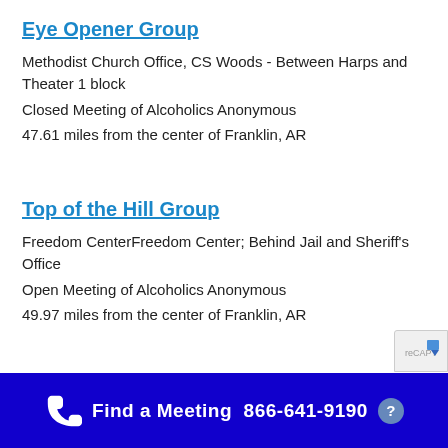Eye Opener Group
Methodist Church Office, CS Woods - Between Harps and Theater 1 block
Closed Meeting of Alcoholics Anonymous
47.61 miles from the center of Franklin, AR
Top of the Hill Group
Freedom CenterFreedom Center; Behind Jail and Sheriff's Office
Open Meeting of Alcoholics Anonymous
49.97 miles from the center of Franklin, AR
Find a Meeting  866-641-9190